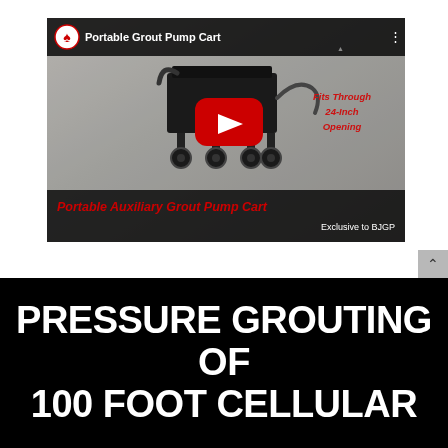[Figure (screenshot): YouTube video thumbnail for 'Portable Grout Pump Cart' by BJGP. Shows a portable auxiliary grout pump cart on a concrete background. Text on the right reads 'Fits Through 24-inch Opening' in red italic. Bottom overlay text reads 'Portable Auxiliary Grout Pump Cart — Exclusive to BJGP' in red and white. A red YouTube play button is centered on the image.]
PRESSURE GROUTING OF 100 FOOT CELLULAR